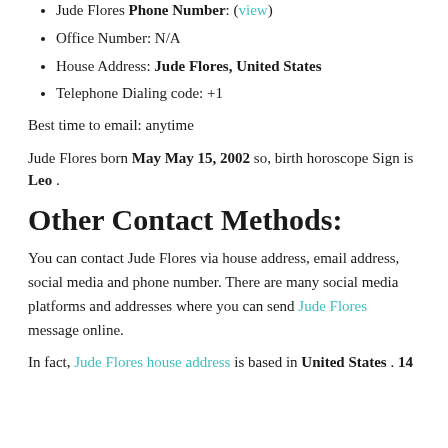Jude Flores Phone Number: (view)
Office Number: N/A
House Address: Jude Flores, United States
Telephone Dialing code: +1
Best time to email: anytime
Jude Flores born May May 15, 2002 so, birth horoscope Sign is Leo .
Other Contact Methods:
You can contact Jude Flores via house address, email address, social media and phone number. There are many social media platforms and addresses where you can send Jude Flores message online.
In fact, Jude Flores house address is based in United States . 14